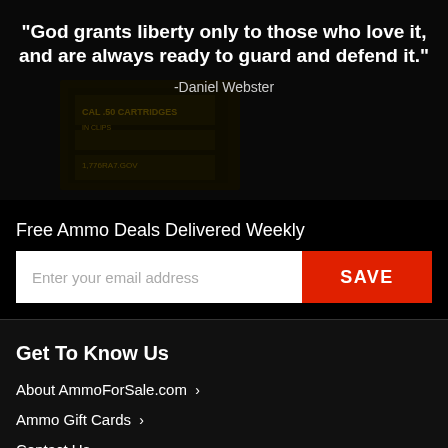[Figure (photo): Dark background image of ammo boxes/cartridges with a semi-transparent overlay, featuring a quote in white text]
“God grants liberty only to those who love it, and are always ready to guard and defend it.”
-Daniel Webster
Free Ammo Deals Delivered Weekly
Enter your email address  SAVE
Get To Know Us
About AmmoForSale.com >
Ammo Gift Cards >
Contact Us >